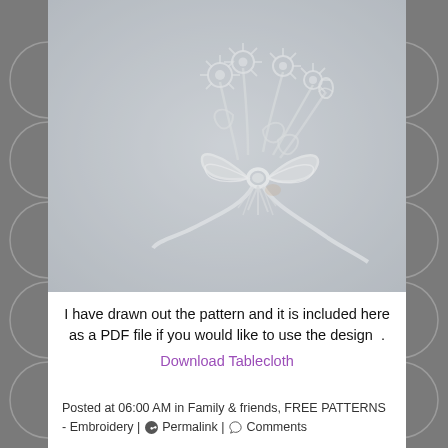[Figure (photo): Close-up photograph of white embroidered fabric showing a floral bouquet with a bow design rendered in raised white-on-white embroidery stitching]
I have drawn out the pattern and it is included here as a PDF file if you would like to use the design  .
Download Tablecloth
Posted at 06:00 AM in Family & friends, FREE PATTERNS - Embroidery | Permalink | Comments